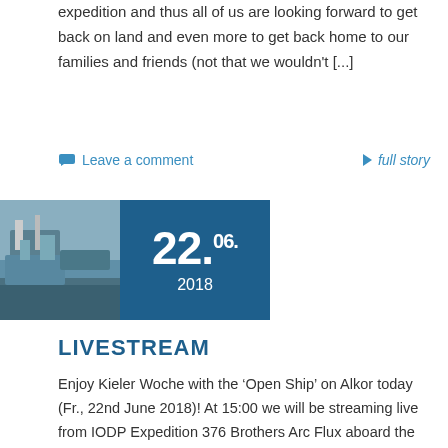expedition and thus all of us are looking forward to get back on land and even more to get back home to our families and friends (not that we wouldn't [...]
Leave a comment
full story
[Figure (photo): Photo of a research vessel ship alongside a blue date box showing 22.06.2018]
LIVESTREAM
Enjoy Kieler Woche with the 'Open Ship' on Alkor today (Fr., 22nd June 2018)! At 15:00 we will be streaming live from IODP Expedition 376 Brothers Arc Flux aboard the DV JOIDES Resolution. When else do you have a chance to learn about our drilling operations at the other side of the globe?! https://www.geomar.de/service/veranstaltungen/einzelansicht/artic open-ship-2018-auf-fs-alkor/